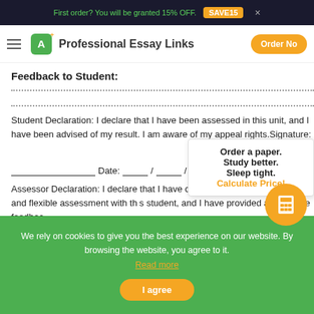First order? You will be granted 15% OFF. SAVE15
Professional Essay Links  Order Now
Feedback to Student:
Student Declaration: I declare that I have been assessed in this unit, and I have been advised of my result. I am aware of my appeal rights.Signature:
Date: ____/____/____
Assessor Declaration: I declare that I have conducted a fair, valid, reliable and flexible assessment with this student, and I have provided appropriate feedback.
Signature:                                    Date:
Order a paper.
Study better.
Sleep tight.
Calculate Price!
We rely on cookies to give you the best experience on our website. By browsing the website, you agree to it.
Read more
I agree